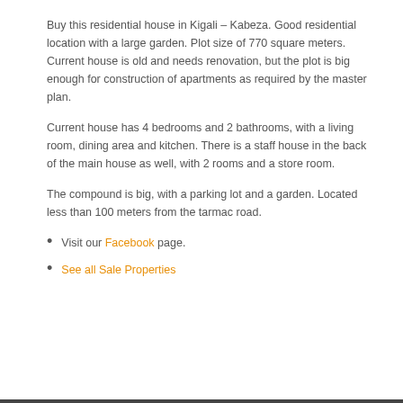Buy this residential house in Kigali – Kabeza. Good residential location with a large garden. Plot size of 770 square meters. Current house is old and needs renovation, but the plot is big enough for construction of apartments as required by the master plan.
Current house has 4 bedrooms and 2 bathrooms, with a living room, dining area and kitchen. There is a staff house in the back of the main house as well, with 2 rooms and a store room.
The compound is big, with a parking lot and a garden. Located less than 100 meters from the tarmac road.
Visit our Facebook page.
See all Sale Properties